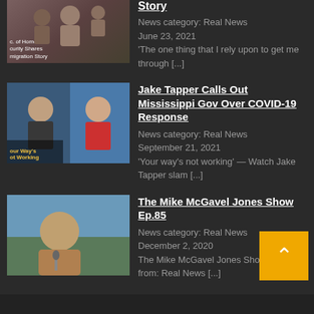[Figure (screenshot): Thumbnail image of news story about Homeland Security migration story]
Story
News category: Real News
June 23, 2021
'The one thing that I rely upon to get me through [...]
[Figure (screenshot): Thumbnail image showing Jake Tapper interview - 'Your Way's not Working']
Jake Tapper Calls Out Mississippi Gov Over COVID-19 Response
News category: Real News
September 21, 2021
'Your way's not working' — Watch Jake Tapper slam [...]
[Figure (screenshot): Thumbnail image of The Mike McGavel Jones Show Ep.85]
The Mike McGavel Jones Show Ep.85
News category: Real News
December 2, 2020
The Mike McGavel Jones Show Ep.85 M from: Real News [...]